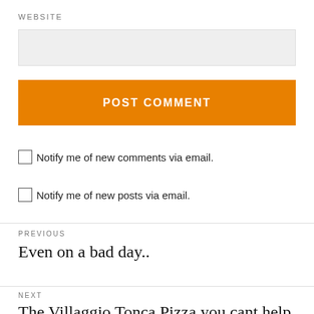WEBSITE
POST COMMENT
Notify me of new comments via email.
Notify me of new posts via email.
PREVIOUS
Even on a bad day..
NEXT
The Villaggio Tonca Pizza you cant help